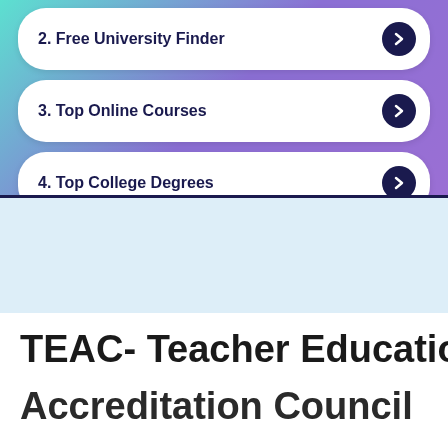2. Free University Finder
3. Top Online Courses
4. Top College Degrees
TEAC- Teacher Education Accreditation Council